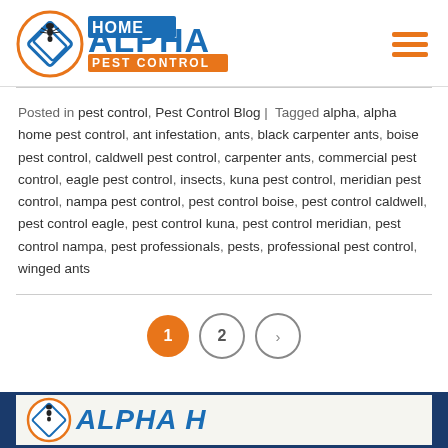[Figure (logo): Alpha Home Pest Control logo with ant icon, orange circle, blue text ALPHA HOME PEST CONTROL]
Posted in pest control, Pest Control Blog | Tagged alpha, alpha home pest control, ant infestation, ants, black carpenter ants, boise pest control, caldwell pest control, carpenter ants, commercial pest control, eagle pest control, insects, kuna pest control, meridian pest control, nampa pest control, pest control boise, pest control caldwell, pest control eagle, pest control kuna, pest control meridian, pest control nampa, pest professionals, pests, professional pest control, winged ants
[Figure (other): Pagination: page 1 (active, orange), page 2, next arrow (>)]
[Figure (logo): Alpha Home Pest Control footer logo, white/blue text on dark navy background]